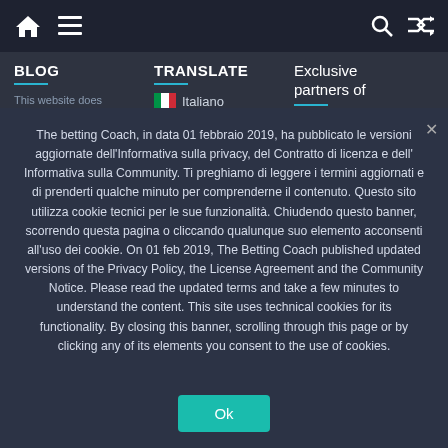Navigation bar with home icon, menu icon, search icon, shuffle icon
BLOG
TRANSLATE
Exclusive partners of
This website does not represent a
Italiano
The betting Coach, in data 01 febbraio 2019, ha pubblicato le versioni aggiornate dell'Informativa sulla privacy, del Contratto di licenza e dell' Informativa sulla Community. Ti preghiamo di leggere i termini aggiornati e di prenderti qualche minuto per comprenderne il contenuto. Questo sito utilizza cookie tecnici per le sue funzionalità. Chiudendo questo banner, scorrendo questa pagina o cliccando qualunque suo elemento acconsenti all'uso dei cookie. On 01 feb 2019, The Betting Coach published updated versions of the Privacy Policy, the License Agreement and the Community Notice. Please read the updated terms and take a few minutes to understand the content. This site uses technical cookies for its functionality. By closing this banner, scrolling through this page or by clicking any of its elements you consent to the use of cookies.
Ok